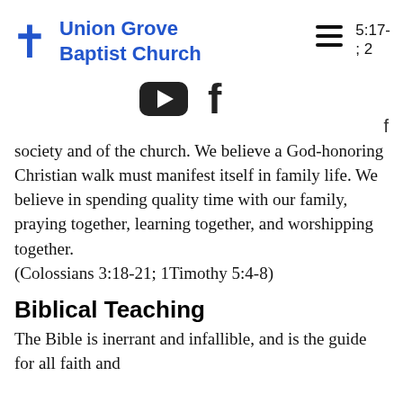Union Grove Baptist Church
5:17-; 2
[Figure (logo): YouTube and Facebook social media icons]
f
of society and of the church. We believe a God-honoring Christian walk must manifest itself in family life. We believe in spending quality time with our family, praying together, learning together, and worshipping together. (Colossians 3:18-21; 1Timothy 5:4-8)
Biblical Teaching
The Bible is inerrant and infallible, and is the guide for all faith and